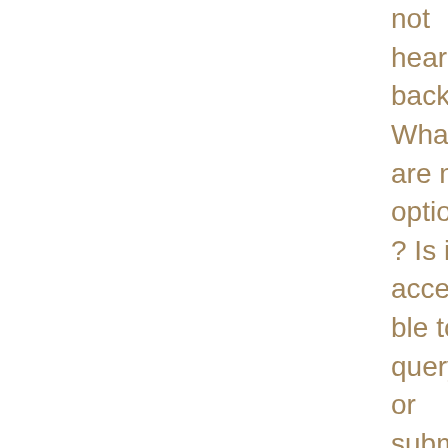not heard back! What are my options? Is it acceptable to query or submit to US-based agents on A4 paper? Is it OK to